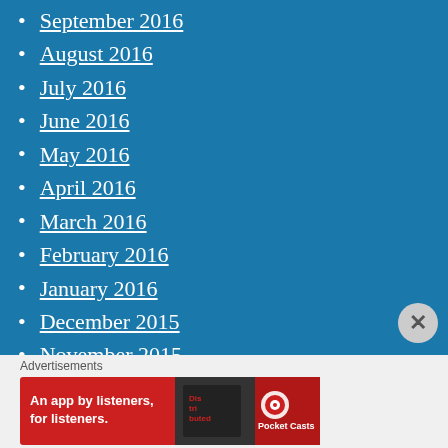September 2016
August 2016
July 2016
June 2016
May 2016
April 2016
March 2016
February 2016
January 2016
December 2015
November 2015
October 2015
September 2015
August 2015
Advertisements
[Figure (other): Advertisement banner for Pocket Casts app: 'An app by listeners, for listeners.' with phone image and Pocket Casts logo on red background]